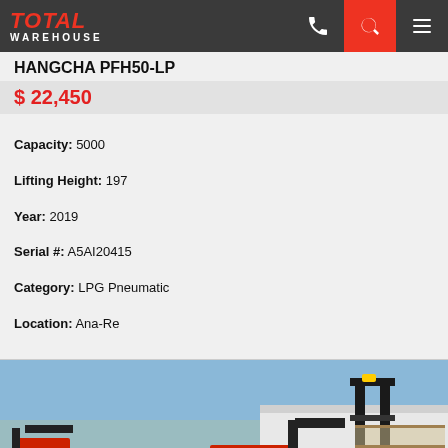Total Warehouse — navigation bar with logo, phone, search, and menu icons
HANGCHA PFH50-LP
$ 22,450
Capacity: 5000
Lifting Height: 197
Year: 2019
Serial #: A5AI20415
Category: LPG Pneumatic
Location: Ana-Re
[Figure (photo): A red Hangcha forklift truck in an outdoor lot with other red forklifts visible in the background, chain-link fence, and a warehouse building. Sunny day with blue sky.]